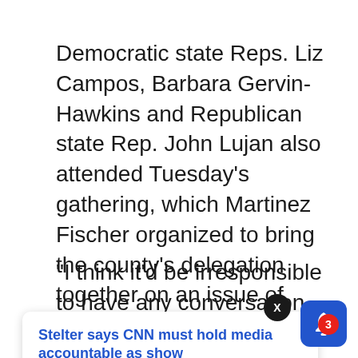Democratic state Reps. Liz Campos, Barbara Gervin-Hawkins and Republican state Rep. John Lujan also attended Tuesday's gathering, which Martinez Fischer organized to bring the county's delegation together on an issue of great importance to their community.
“I think it’d be irresponsible to have any conversation where you’re going to set [policy around] the [future] of the idea of coming back to work on schoo
[Figure (screenshot): Notification popup overlay with blue link text 'Stelter says CNN must hold media accountable as show' and timestamp '31 minutes ago', with a close X button and a blue bell icon with red badge showing '3']